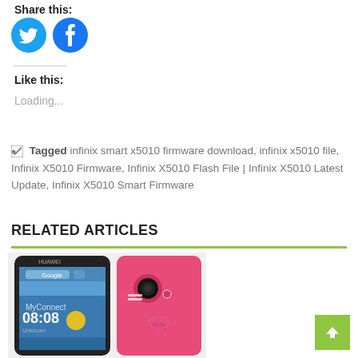Share this:
[Figure (illustration): Two circular social media share buttons: Twitter (blue bird icon) and Facebook (blue 'f' icon)]
Like this:
Loading...
Tagged infinix smart x5010 firmware download, infinix x5010 file, Infinix X5010 Firmware, Infinix X5010 Flash File | Infinix X5010 Latest Update, Infinix X5010 Smart Firmware
RELATED ARTICLES
[Figure (photo): Huawei smartphone shown from front and back with pink case, front shows screen with Google search and time 08:08, back shows Huawei logo and camera]